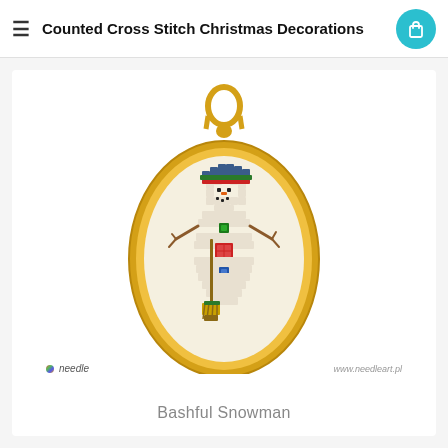Counted Cross Stitch Christmas Decorations
[Figure (photo): A counted cross stitch embroidery of a snowman held in a gold oval frame with hanging loop. The snowman wears a blue hat with a red ribbon, has stick arms, holds a broom, and has green and red button decorations on its body. The brand watermarks 'needle' and 'www.needleart.pl' appear at the bottom of the card.]
Bashful Snowman